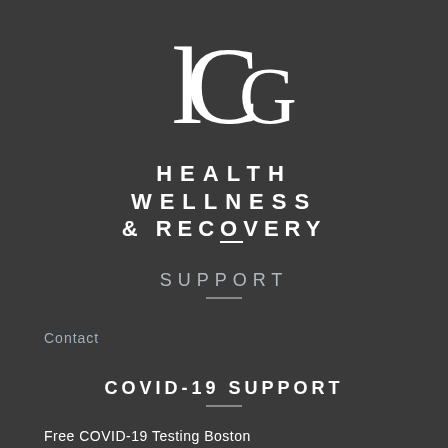[Figure (logo): LCG monogram logo in white on dark background]
HEALTH
WELLNESS
& RECOVERY
SUPPORT
Contact
COVID-19 SUPPORT
Free COVID-19 Testing Boston